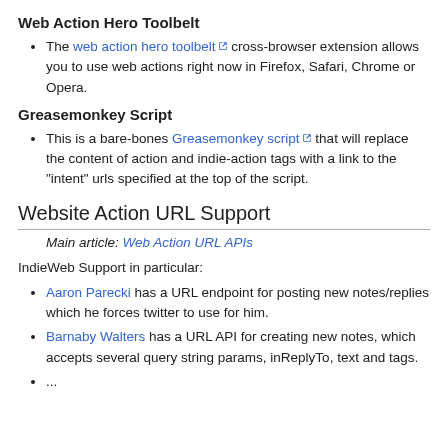Web Action Hero Toolbelt
The web action hero toolbelt cross-browser extension allows you to use web actions right now in Firefox, Safari, Chrome or Opera.
Greasemonkey Script
This is a bare-bones Greasemonkey script that will replace the content of action and indie-action tags with a link to the "intent" urls specified at the top of the script.
Website Action URL Support
Main article: Web Action URL APIs
IndieWeb Support in particular:
Aaron Parecki has a URL endpoint for posting new notes/replies which he forces twitter to use for him.
Barnaby Walters has a URL API for creating new notes, which accepts several query string params, inReplyTo, text and tags.
...